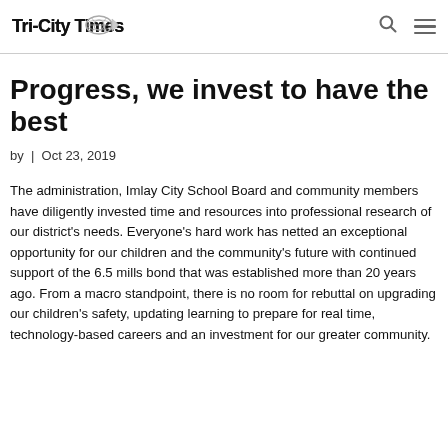Tri-City Times Online
Progress, we invest to have the best
by | Oct 23, 2019
The administration, Imlay City School Board and community members have diligently invested time and resources into professional research of our district's needs. Everyone's hard work has netted an exceptional opportunity for our children and the community's future with continued support of the 6.5 mills bond that was established more than 20 years ago.
From a macro standpoint, there is no room for rebuttal on upgrading our children's safety, updating learning to prepare for real time, technology-based careers and an investment for our greater community.